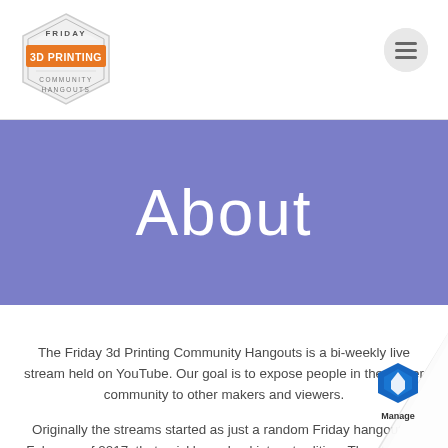[Figure (logo): Friday 3D Printing Community Hangouts hexagonal badge logo with orange banner]
[Figure (other): Hamburger menu icon button (three horizontal lines) on a light gray circular background]
About
The Friday 3d Printing Community Hangouts is a bi-weekly live stream held on YouTube. Our goal is to expose people in the maker community to other makers and viewers.
Originally the streams started as just a random Friday hangout in February of 2017, that quickly evolved into a tradition. The streams went for about 5 months a streams then cut back to bi-weekly. An ever evolvi
[Figure (other): Page curl effect in bottom-right corner with Manage widget icon (blue hexagon logo with 'Manage' text)]